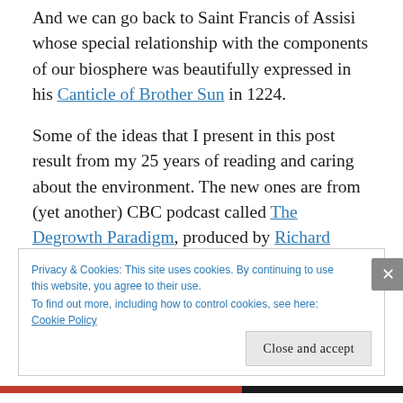And we can go back to Saint Francis of Assisi whose special relationship with the components of our biosphere was beautifully expressed in his Canticle of Brother Sun in 1224.
Some of the ideas that I present in this post result from my 25 years of reading and caring about the environment. The new ones are from (yet another) CBC podcast called The Degrowth Paradigm, produced by Richard Swift and aired in December on the CBC's wonderful week-
Privacy & Cookies: This site uses cookies. By continuing to use this website, you agree to their use.
To find out more, including how to control cookies, see here: Cookie Policy